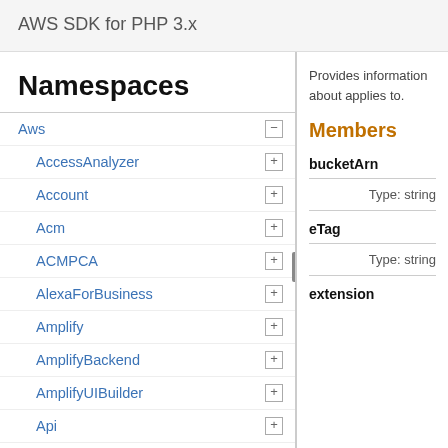AWS SDK for PHP 3.x
Namespaces
Aws
AccessAnalyzer
Account
Acm
ACMPCA
AlexaForBusiness
Amplify
AmplifyBackend
AmplifyUIBuilder
Api
ApiGateway
ApiGatewayManagementApi
Provides information about applies to.
Members
bucketArn
Type: string
eTag
Type: string
extension